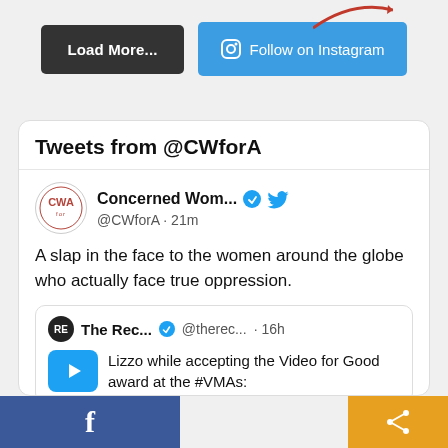[Figure (screenshot): Top section with Load More and Follow on Instagram buttons, and a red arrow illustration at top right]
Tweets from @CWforA
Concerned Wom... @CWforA · 21m
A slap in the face to the women around the globe who actually face true oppression.
The Rec... @therec... · 16h  Lizzo while accepting the Video for Good award at the #VMAs:
[Figure (screenshot): Bottom bar with Facebook and share icons]